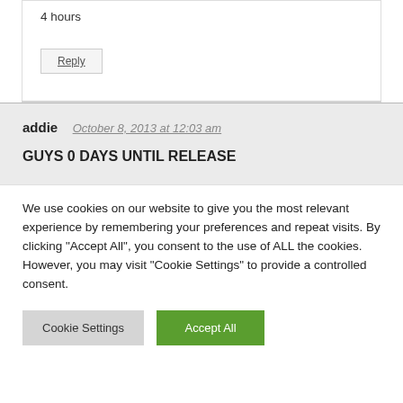4 hours
Reply
addie   October 8, 2013 at 12:03 am
GUYS 0 DAYS UNTIL RELEASE
We use cookies on our website to give you the most relevant experience by remembering your preferences and repeat visits. By clicking "Accept All", you consent to the use of ALL the cookies. However, you may visit "Cookie Settings" to provide a controlled consent.
Cookie Settings
Accept All